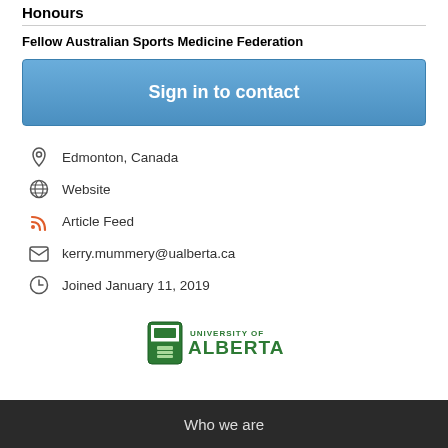Honours
Fellow Australian Sports Medicine Federation
Sign in to contact
Edmonton, Canada
Website
Article Feed
kerry.mummery@ualberta.ca
Joined January 11, 2019
[Figure (logo): University of Alberta logo with shield and text]
Who we are